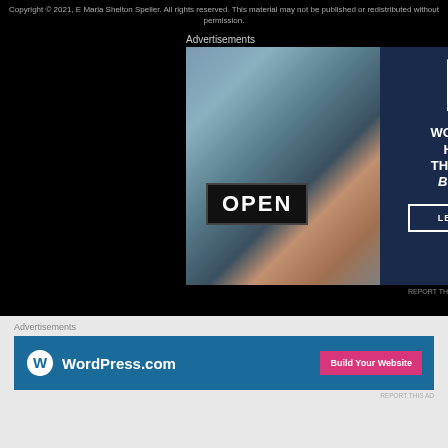Copyright © 2021, E Maria Shelton Speller. All rights reserved. This material may not be published or redistributed without permission.
Advertisements
[Figure (illustration): WordPress hosting advertisement showing a woman holding an OPEN sign, with WordPress logo and text 'WORDPRESS HOSTING THAT MEANS BUSINESS.' and a LEARN MORE button on dark navy background]
REPORT TH
Advertisements
[Figure (illustration): WordPress.com advertisement on blue background with WordPress circle logo and 'WordPress.com' text, with a pink 'Build Your Website' button]
REPORT THIS AD